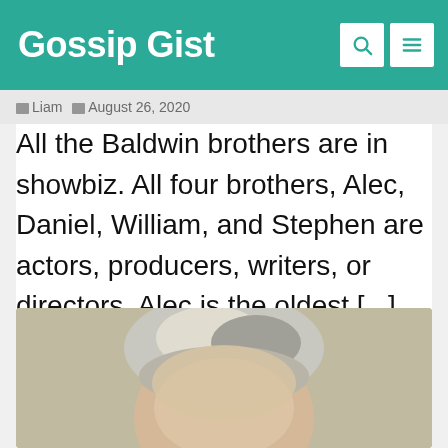Gossip Gist
Liam | August 26, 2020
All the Baldwin brothers are in showbiz. All four brothers, Alec, Daniel, William, and Stephen are actors, producers, writers, or directors. Alec is the oldest [...]
[Figure (photo): Close-up photo of a man with grey and blonde hair]